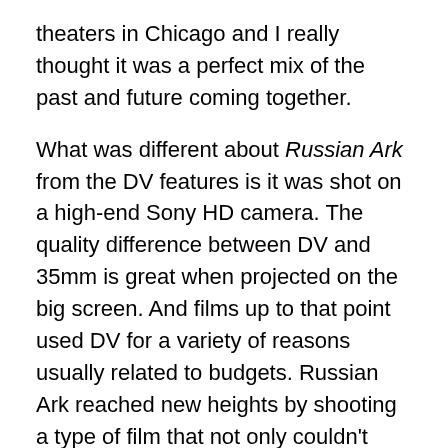theaters in Chicago and I really thought it was a perfect mix of the past and future coming together.
What was different about Russian Ark from the DV features is it was shot on a high-end Sony HD camera. The quality difference between DV and 35mm is great when projected on the big screen. And films up to that point used DV for a variety of reasons usually related to budgets. Russian Ark reached new heights by shooting a type of film that not only couldn't physically be shot on film (due to the nature of film loads being limited in time) but the quality for the average viewer was matched on the screen.
Also in the year 2002, Gary Winick's  who directed Tadpole (shot with a Sony PD-150 DV camera) won the Best Director Award at the 2002 Sundance Film